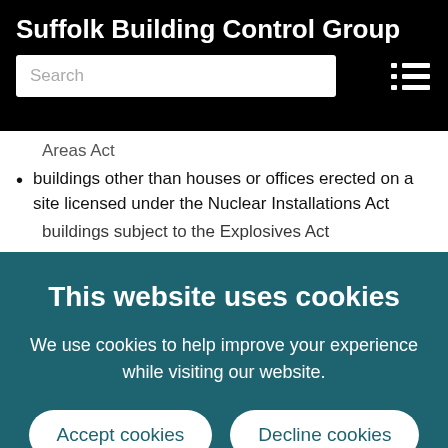Suffolk Building Control Group
Areas Act
buildings other than houses or offices erected on a site licensed under the Nuclear Installations Act
buildings subject to the Explosives Act
This website uses cookies
We use cookies to help improve your experience while visiting our website.
Accept cookies
Decline cookies